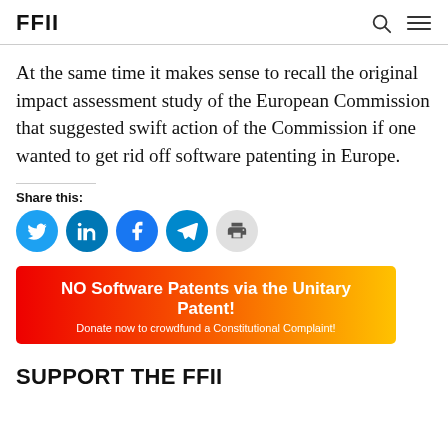FFII
At the same time it makes sense to recall the original impact assessment study of the European Commission that suggested swift action of the Commission if one wanted to get rid off software patenting in Europe.
Share this:
[Figure (infographic): Social share buttons: Twitter (blue), LinkedIn (blue), Facebook (blue), Telegram (blue), Print (gray)]
[Figure (infographic): Banner: NO Software Patents via the Unitary Patent! Donate now to crowdfund a Constitutional Complaint!]
SUPPORT THE FFII